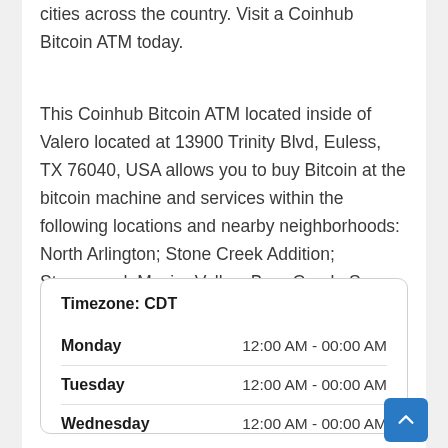cities across the country. Visit a Coinhub Bitcoin ATM today.
This Coinhub Bitcoin ATM located inside of Valero located at 13900 Trinity Blvd, Euless, TX 76040, USA allows you to buy Bitcoin at the bitcoin machine and services within the following locations and nearby neighborhoods: North Arlington; Stone Creek Addition; Stonewood; Mosier Valley; Bear Creek; Song; East Arlington; Broadmoor Hills; Townlake; Bentley Village.
| Day | Hours |
| --- | --- |
| Monday | 12:00 AM - 00:00 AM |
| Tuesday | 12:00 AM - 00:00 AM |
| Wednesday | 12:00 AM - 00:00 AM |